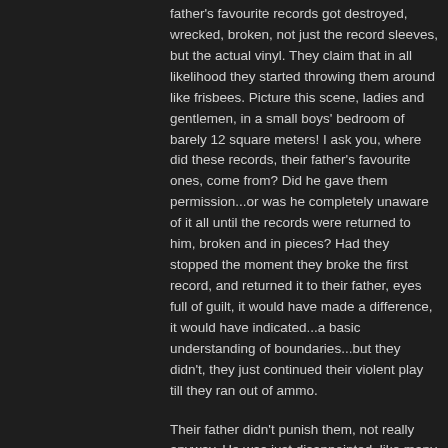father's favourite records got destroyed, wrecked, broken, not just the record sleeves, but the actual vinyl. They claim that in all likelihood they started throwing them around like frisbees. Picture this scene, ladies and gentlemen, in a small boys' bedroom of barely 12 square meters! I ask you, where did these records, their father's favourite ones, come from? Did he gave them permission...or was he completely unaware of it all until the records were returned to him, broken and in pieces? Had they stopped the moment they broke the first record, and returned it to their father, eyes full of guilt, it would have made a difference, it would have indicated...a basic understanding of boundaries...but they didn't, they just continued their violent play till they ran out of ammo.
Their father didn't punish them, not really anyway. He was just disappointed, like many parents in the 70s. So...it's up to you to